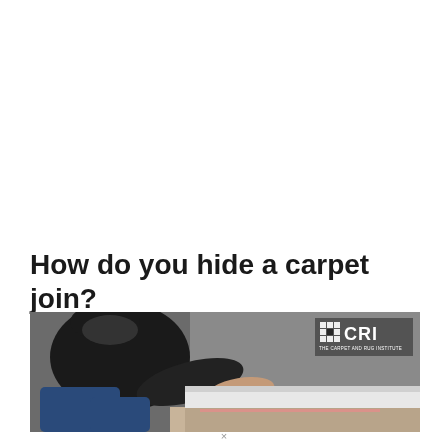How do you hide a carpet join?
[Figure (photo): A person wearing a black shirt and jeans kneeling down and working on carpet installation near a white baseboard/wall, with CRI (The Carpet and Rug Institute) logo in the upper right corner of the image.]